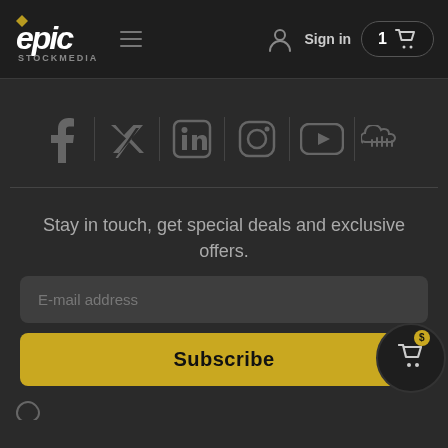Epic Stock Media — Sign in | 1 cart item
[Figure (logo): Epic Stock Media logo with stylized italic text and hamburger menu icon]
[Figure (infographic): Row of 6 social media icons: Facebook, Twitter, LinkedIn, Instagram, YouTube, SoundCloud]
Stay in touch, get special deals and exclusive offers.
E-mail address
Subscribe